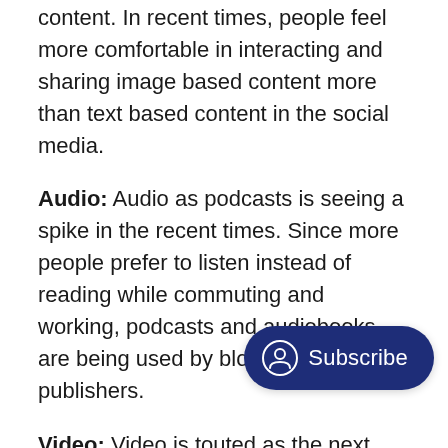content. In recent times, people feel more comfortable in interacting and sharing image based content more than text based content in the social media.
Audio: Audio as podcasts is seeing a spike in the recent times. Since more people prefer to listen instead of reading while commuting and working, podcasts and audiobooks are being used by bloggers and publishers.
Video: Video is touted as the next content channel to watch. with YouTube and recent Facebook's love for videos, the production of the video has more than doubled than before.
It is also assisted by the growing speed and penetration of mobile internet. Studies have shown